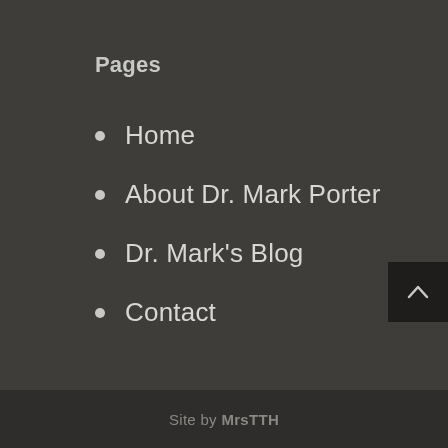Pages
Home
About Dr. Mark Porter
Dr. Mark's Blog
Contact
Site by MrsTTH